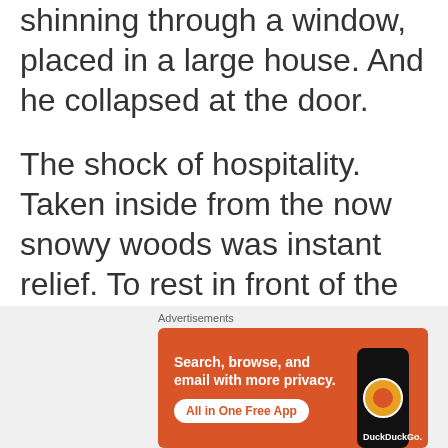realized it was coming from a fire, shinning through a window, placed in a large house.  And he collapsed at the door.
The shock of hospitality.  Taken inside from the now snowy woods was instant relief.  To rest in front of the glowing fire brought more
[Figure (other): DuckDuckGo advertisement banner with orange background showing text 'Search, browse, and email with more privacy. All in One Free App' with a phone graphic and DuckDuckGo logo]